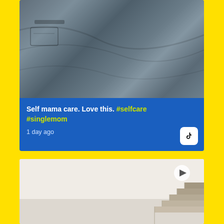[Figure (photo): Close-up photo of dark gray fabric/clothing with wrinkles and a pocket detail, upper portion of a social media card]
Self mama care. Love this. #selfcare #singlemom
1 day ago
[Figure (photo): Bottom portion of a second social media card showing a light beige/cream room with staircase visible in bottom right corner, with a play button icon indicating a video]